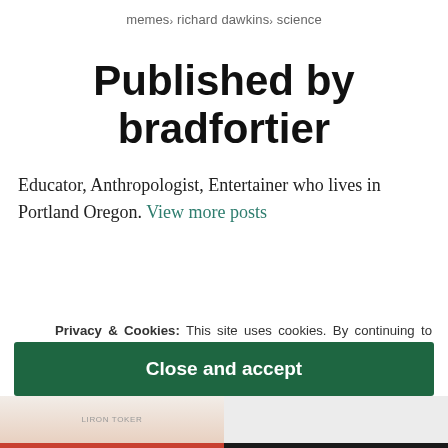memes› richard dawkins› science
Published by bradfortier
Educator, Anthropologist, Entertainer who lives in Portland Oregon. View more posts
Privacy & Cookies: This site uses cookies. By continuing to use this website, you agree to their use.
To find out more, including how to control cookies, see here: Cookie Policy
Close and accept